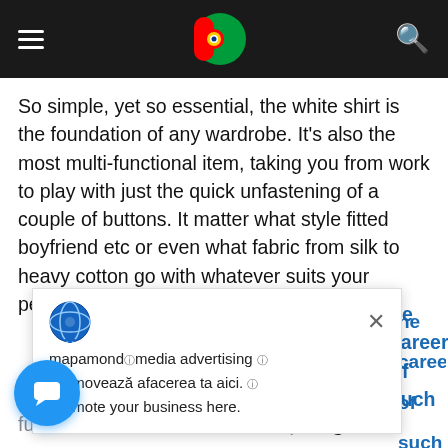Navigation bar with hamburger menu, Portuguese flag, and search icon
So simple, yet so essential, the white shirt is the foundation of any wardrobe. It's also the most multi-functional item, taking you from work to play with just the quick unfastening of a couple of buttons. It matter what style fitted boyfriend etc or even what fabric from silk to heavy cotton go with whatever suits your personal style best.
[Figure (screenshot): Advertisement popup with globe icon, close button, and text: mapamondⓘmedia advertising ⓘ / Promovează afacerea ta aici. ⓘ / Promote your business here.]
the careers of such and Kate Moss to cast a standard and make a fuss about it to Burbesie who spent years.
[Figure (illustration): Blue circular chat button with chat icon]
must explain to you how all this mistaken idea of denouncing